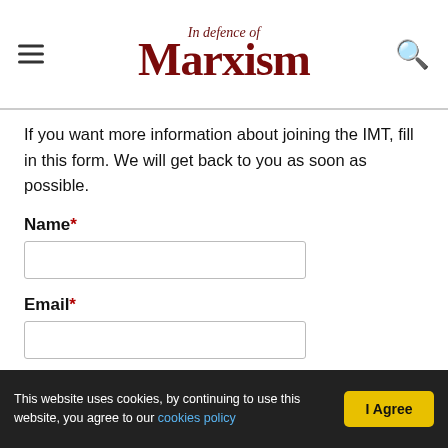In Defence of Marxism
If you want more information about joining the IMT, fill in this form. We will get back to you as soon as possible.
Name*
Email*
Phone number
Country*
This website uses cookies, by continuing to use this website, you agree to our cookies policy  I Agree